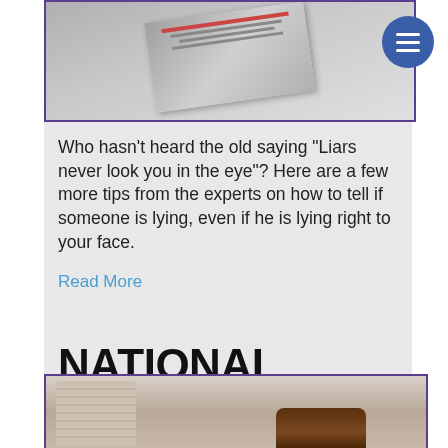[Figure (photo): Cropped newspaper/magazine image at top, partially visible]
Who hasn’t heard the old saying “Liars never look you in the eye”? Here are a few more tips from the experts on how to tell if someone is lying, even if he is lying right to your face.
Read More
NATIONAL BLUEBERRY CHEESECAKE DAY
[Figure (photo): Bottom image partially visible showing what appears to be cheesecake and a person wearing a sweater]